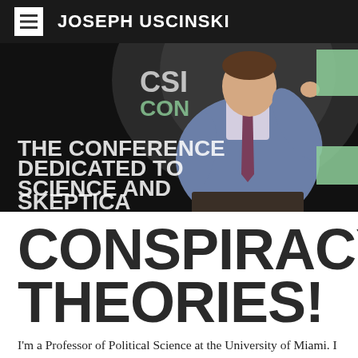JOSEPH USCINSKI
[Figure (photo): Joseph Uscinski speaking at a conference stage with a dark background showing text 'THE CONFERENCE DEDICATED TO SCIENCE AND SKEPTICA...' (CSICon conference)]
CONSPIRACY THEORIES!
I'm a Professor of Political Science at the University of Miami. I study public opinion and mass media, with a focus on conspiracy theories and related misinformation. I am coauthor of American Conspiracy Theories (Oxford, 2014) and editor of